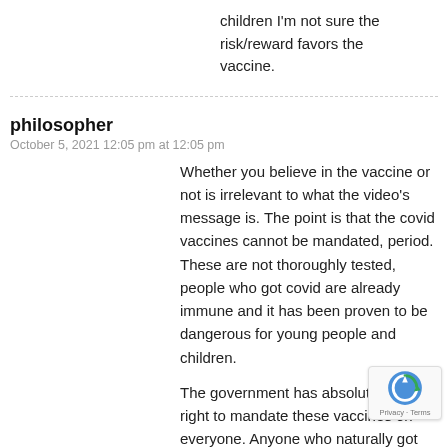children I'm not sure the risk/reward favors the vaccine.
philosopher
October 5, 2021 12:05 pm at 12:05 pm
Whether you believe in the vaccine or not is irrelevant to what the video's message is. The point is that the covid vaccines cannot be mandated, period. These are not thoroughly tested, people who got covid are already immune and it has been proven to be dangerous for young people and children.
The government has absolutely no right to mandate these vaccines on everyone. Anyone who naturally got the mumps, measles and chicken pox does not not get the vaccine. If they tested positive to have had these diseases, or any viral disease, they are exempt from vaccination for that particular disease, so this case is it different? Even if the antibody levels been reduced over time in those who got covid, they will they can never get the disease again.